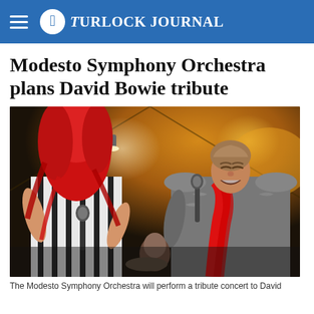Turlock Journal
Modesto Symphony Orchestra plans David Bowie tribute
[Figure (photo): Two performers on stage: a woman with a large red wig wearing a black-and-white striped outfit holding a microphone, and a man in a grey ornate jacket with a red scarf also holding a microphone. Warm orange stage lighting in the background.]
The Modesto Symphony Orchestra will perform a tribute concert to David